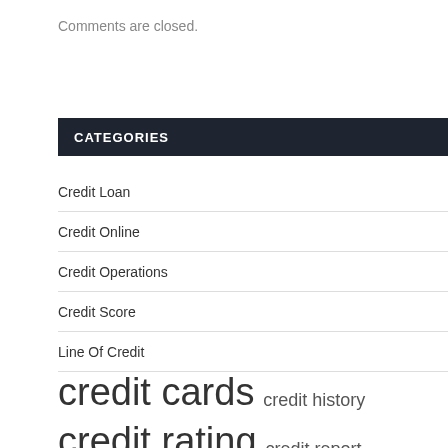Comments are closed.
CATEGORIES
Credit Loan
Credit Online
Credit Operations
Credit Score
Line Of Credit
credit cards  credit history  credit rating  credit report